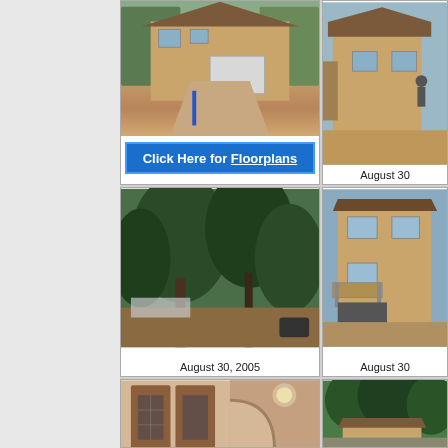[Figure (photo): Front view of house under construction with dirt driveway, two-car garage, surrounded by trees]
Click Here for Floorplans
[Figure (photo): Side view of house under construction, yellow siding, partial framing visible]
August 30
[Figure (photo): Backyard wooded area with trees and construction materials on ground, August 30, 2005]
August 30, 2005
[Figure (photo): Back/side view of house showing two-story yellow siding exterior with deck, dirt surroundings]
August 30
[Figure (photo): Interior entryway with wooden front doors and arched hallway, ceiling light fixture]
[Figure (photo): Exterior view of house surrounded by pine trees]